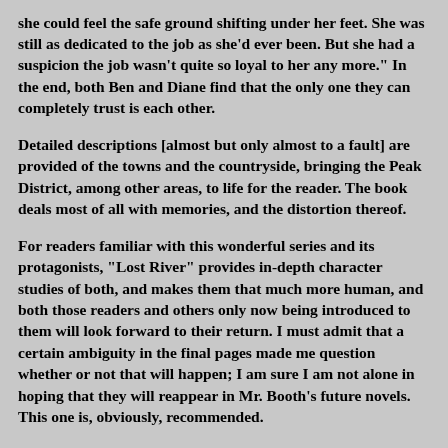she could feel the safe ground shifting under her feet. She was still as dedicated to the job as she'd ever been. But she had a suspicion the job wasn't quite so loyal to her any more." In the end, both Ben and Diane find that the only one they can completely trust is each other.
Detailed descriptions [almost but only almost to a fault] are provided of the towns and the countryside, bringing the Peak District, among other areas, to life for the reader. The book deals most of all with memories, and the distortion thereof.
For readers familiar with this wonderful series and its protagonists, "Lost River" provides in-depth character studies of both, and makes them that much more human, and both those readers and others only now being introduced to them will look forward to their return. I must admit that a certain ambiguity in the final pages made me question whether or not that will happen; I am sure I am not alone in hoping that they will reappear in Mr. Booth's future novels. This one is, obviously, recommended.
The Thrill of the Haunt
E.J. Copperman
Berkley Prime Crime
c/o Penguin Group USA
375 Hudson St., NY, NY 10014